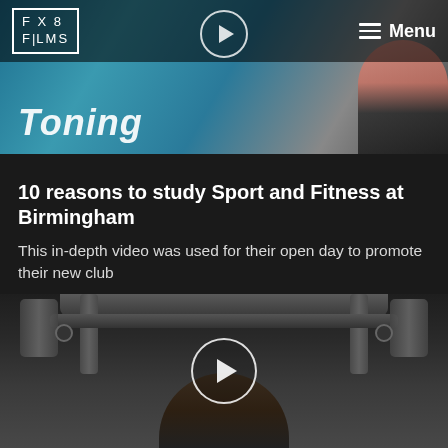[Figure (screenshot): Website header with FX8 FILMS logo on left, circular play button in center, and hamburger Menu button on right, overlaid on a gym/fitness video thumbnail showing 'Toning' text and a person exercising]
10 reasons to study Sport and Fitness at Birmingham
This in-depth video was used for their open day to promote their new club
[Figure (screenshot): Video thumbnail showing gym equipment close-up with a person lying on a bench press machine, with a circular play button overlay in the center]